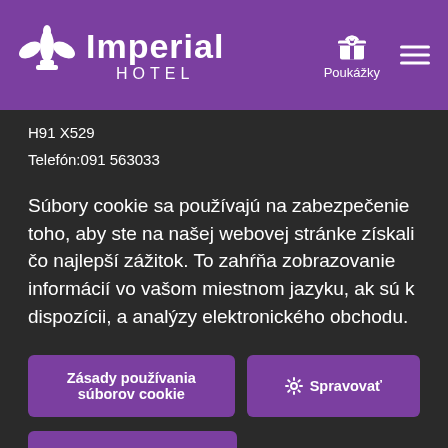Imperial HOTEL — Poukážky
H91 X529
Telefón:091 563033
Súbory cookie sa používajú na zabezpečenie toho, aby ste na našej webovej stránke získali čo najlepší zážitok. To zahŕňa zobrazovanie informácií vo vašom miestnom jazyku, ak sú k dispozícii, a analýzy elektronického obchodu.
Zásady používania súborov cookie
Spravovať
Povoliť súbory cookie